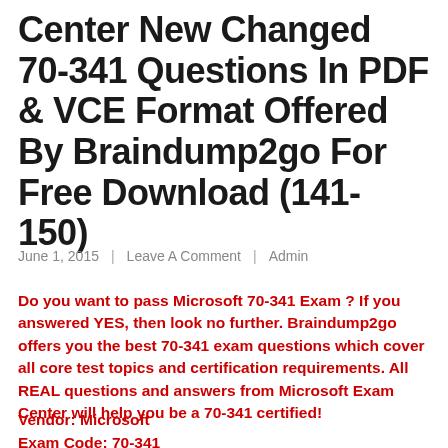Center New Changed 70-341 Questions In PDF & VCE Format Offered By Braindump2go For Free Download (141-150)
June 1, 2015  |  Leave A Comment  |  Admin
Do you want to pass Microsoft 70-341 Exam ? If you answered YES, then look no further. Braindump2go offers you the best 70-341 exam questions which cover all core test topics and certification requirements. All REAL questions and answers from Microsoft Exam Center will help you be a 70-341 certified!
Vendor: Microsoft
Exam Code: 70-341